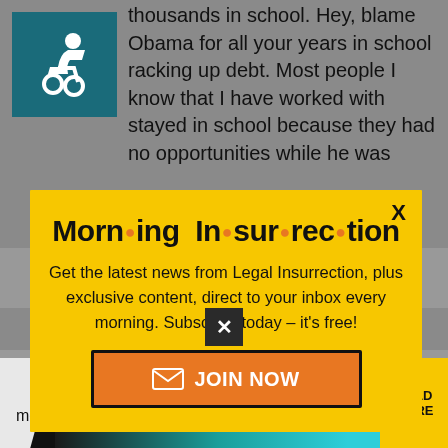thousands in school. Hey, blame Obama for all your years in school racking up debt. Most people I know that I have worked with stayed in school because they had no opportunities while he was
[Figure (screenshot): Modal popup with yellow background for 'Morning Insurrection' newsletter signup from Legal Insurrection. Contains title, description text, and orange JOIN NOW button.]
shrinkDave | January 1, 2020 at 12:25 pm
[Figure (advertisement): THE PERSPECTIVE advertisement banner: 'SEE WHAT YOU'RE MISSING' with READ MORE button on yellow background.]
me; I completely distracted them my